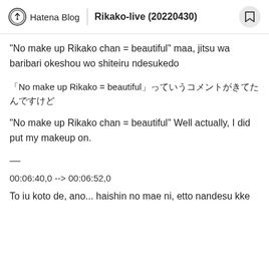Hatena Blog | Rikako-live (20220430)
"No make up Rikako chan = beautiful" maa, jitsu wa baribari okeshou wo shiteiru ndesukedo
「No make up Rikako = beautiful」っていうコメントがきてたんですけど
"No make up Rikako chan = beautiful" Well actually, I did put my makeup on.
—
00:06:40,0 --> 00:06:52,0
To iu koto de, ano... haishin no mae ni, etto nandesu kke